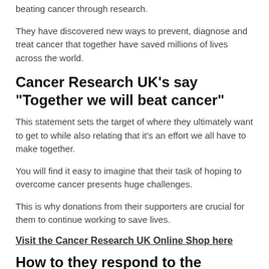beating cancer through research.
They have discovered new ways to prevent, diagnose and treat cancer that together have saved millions of lives across the world.
Cancer Research UK's say "Together we will beat cancer"
This statement sets the target of where they ultimately want to get to while also relating that it's an effort we all have to make together.
You will find it easy to imagine that their task of hoping to overcome cancer presents huge challenges.
This is why donations from their supporters are crucial for them to continue working to save lives.
Visit the Cancer Research UK Online Shop here
How to they respond to the challenges?
They conduct top-quality research that helps to increase humankind's understanding of the disease and how to fight it and deliver treatments.